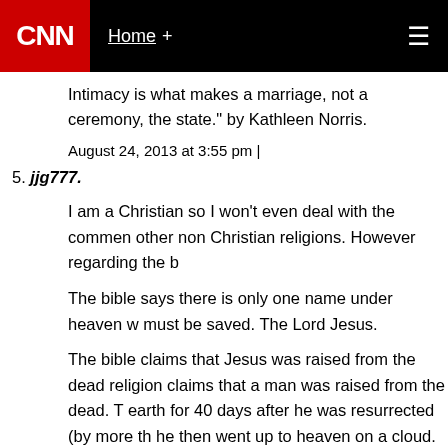CNN | Home +
Intimacy is what makes a marriage, not a ceremony, the state." by Kathleen Norris.
August 24, 2013 at 3:55 pm |
5. jjg777.
I am a Christian so I won't even deal with the comments about other non Christian religions. However regarding the b
The bible says there is only one name under heaven w must be saved. The Lord Jesus.
The bible claims that Jesus was raised from the dead religion claims that a man was raised from the dead. T earth for 40 days after he was resurrected (by more th he then went up to heaven on a cloud. That he now sit Father making intersession for our sins.
The rapture will take all born again believers to heave humanity in a horrible time of war and the coming of a